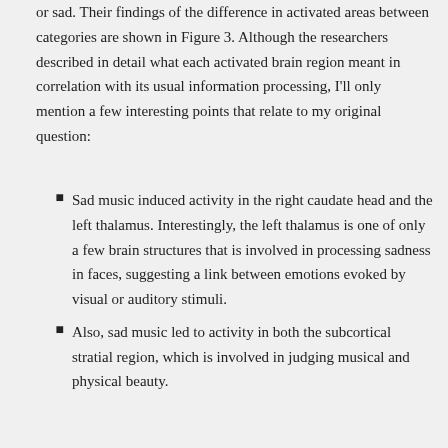or sad. Their findings of the difference in activated areas between categories are shown in Figure 3. Although the researchers described in detail what each activated brain region meant in correlation with its usual information processing, I'll only mention a few interesting points that relate to my original question:
Sad music induced activity in the right caudate head and the left thalamus. Interestingly, the left thalamus is one of only a few brain structures that is involved in processing sadness in faces, suggesting a link between emotions evoked by visual or auditory stimuli.
Also, sad music led to activity in both the subcortical stratial region, which is involved in judging musical and physical beauty.